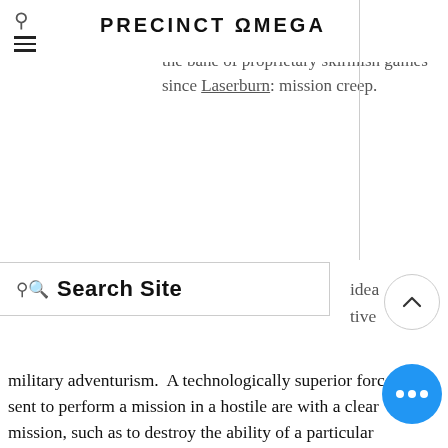PRECINCT OMEGA — navigation bar with cart and hamburger menu icons
This fourth edition of the game is trying to overcome what has consistently been the bane of proprietary skirmish games since Laserburn: mission creep.
Search Site
idea tive military adventurism. A technologically superior force is sent to perform a mission in a hostile are with a clear mission, such as to destroy the ability of a particular organization to operate outside its territorial boundaries. But before long, the commanders realize that achieving that mission requires them to establish intelligence gathering networks in the local community, that mission requires them to establish a hearts-and-minds operation and that